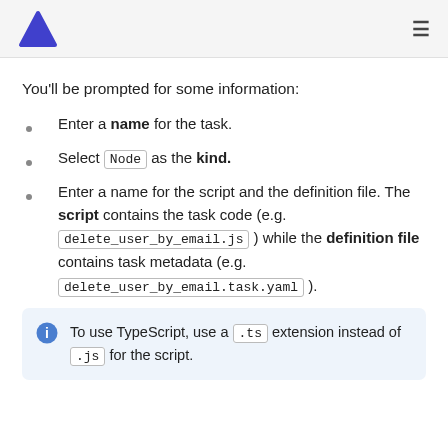You'll be prompted for some information:
Enter a name for the task.
Select Node as the kind.
Enter a name for the script and the definition file. The script contains the task code (e.g. delete_user_by_email.js ) while the definition file contains task metadata (e.g. delete_user_by_email.task.yaml ).
To use TypeScript, use a .ts extension instead of .js for the script.